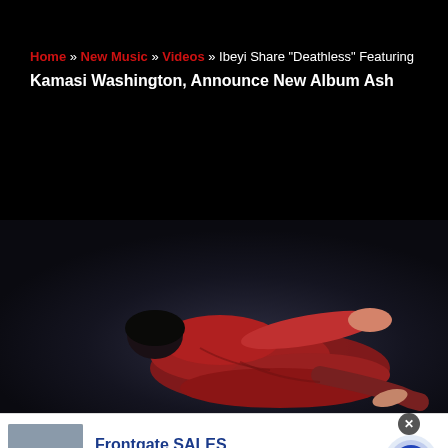Home » New Music » Videos » Ibeyi Share "Deathless" Featuring Kamasi Washington, Announce New Album Ash
[Figure (photo): Person dressed in red lying on a dark background, viewed from above]
[Figure (photo): Advertisement thumbnail showing outdoor furniture with a fire pit]
Frontgate SALES
20% off sitewide plus free shipping from August 19-22
frontgate.com